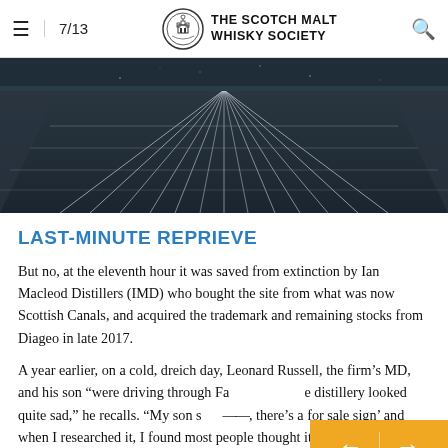7/13 THE SCOTCH MALT WHISKY SOCIETY
[Figure (photo): Aerial or wide-angle view of a distillery floor with parallel metal rails/tracks receding into the distance, dark industrial tones with bluish-grey palette.]
LAST-MINUTE REPRIEVE
But no, at the eleventh hour it was saved from extinction by Ian Macleod Distillers (IMD) who bought the site from what was now Scottish Canals, and acquired the trademark and remaining stocks from Diageo in late 2017.
A year earlier, on a cold, dreich day, Leonard Russell, the firm’s MD, and his son “were driving through Fa—e distillery looked quite sad,” he recalls. “My son s——, there’s a for sale sign’ and when I researched it, I found most people thought it had gone past the point of no return, and that